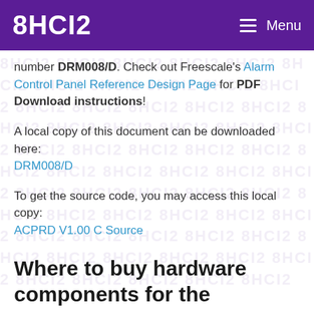8HCI2 Menu
number DRM008/D. Check out Freescale's Alarm Control Panel Reference Design Page for PDF Download instructions!
A local copy of this document can be downloaded here: DRM008/D
To get the source code, you may access this local copy: ACPRD V1.00 C Source
Where to buy hardware components for the ACPRD?
The ACPRD Designer Reference Manual (see above) contains all the information that is necessary to create your own Alarm Control Panel Design from scratch.